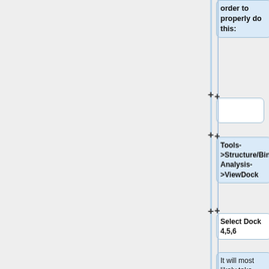order to properly do this:
Tools->Structure/Binding Analysis->ViewDock
Select Dock 4,5,6
It will most likely take your computer a bit to load the entire file in. The number of molecules in the file borders